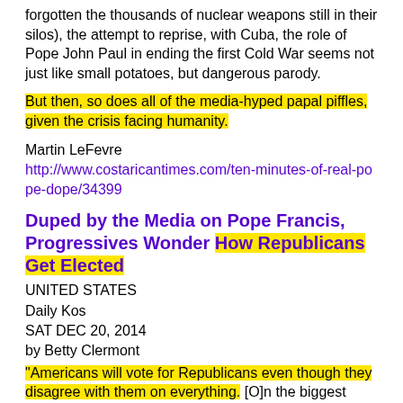forgotten the thousands of nuclear weapons still in their silos), the attempt to reprise, with Cuba, the role of Pope John Paul in ending the first Cold War seems not just like small potatoes, but dangerous parody.
But then, so does all of the media-hyped papal piffles, given the crisis facing humanity.
Martin LeFevre
http://www.costaricantimes.com/ten-minutes-of-real-pope-dope/34399
Duped by the Media on Pope Francis, Progressives Wonder How Republicans Get Elected
UNITED STATES
Daily Kos
SAT DEC 20, 2014
by Betty Clermont
"Americans will vote for Republicans even though they disagree with them on everything. [O]n the biggest issues